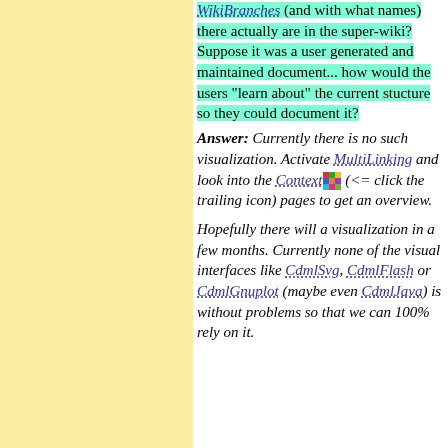WikiBranches (and with what names) there actually are in the super-wiki? Suppose it was a user generated and maintained document... how would the users "learn about" the current stucture so they could document it?
Answer: Currently there is no such visualization. Activate MultiLinking and look into the Context (<= click the trailing icon) pages to get an overview.
Hopefully there will a visualization in a few months. Currently none of the visual interfaces like CdmlSvg, CdmlFlash or CdmlGnuplot (maybe even CdmlJava) is without problems so that we can 100% rely on it.